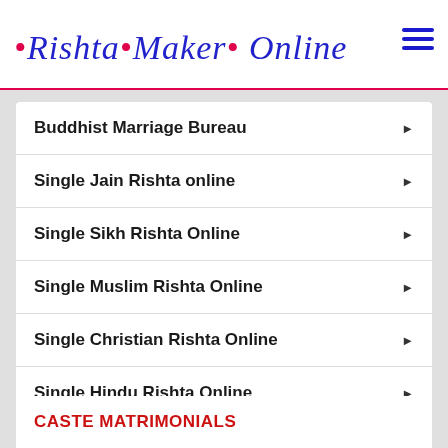Rishta Maker Online
Buddhist Marriage Bureau
Single Jain Rishta online
Single Sikh Rishta Online
Single Muslim Rishta Online
Single Christian Rishta Online
Single Hindu Rishta Online
View More
CASTE MATRIMONIALS